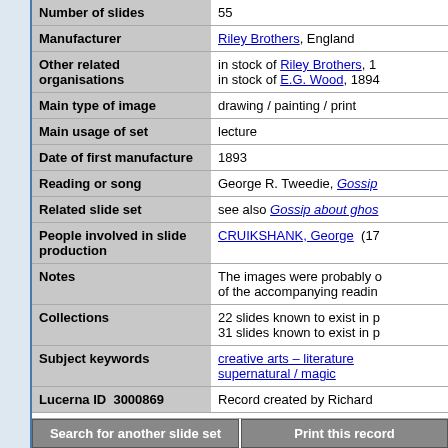| Field | Value |
| --- | --- |
| Number of slides | 55 |
| Manufacturer | Riley Brothers, England |
| Other related organisations | in stock of Riley Brothers, 1
in stock of E.G. Wood, 1894 |
| Main type of image | drawing / painting / print |
| Main usage of set | lecture |
| Date of first manufacture | 1893 |
| Reading or song | George R. Tweedie, Gossip... |
| Related slide set | see also Gossip about ghos... |
| People involved in slide production | CRUIKSHANK, George (1... |
| Notes | The images were probably ...
of the accompanying reading... |
| Collections | 22 slides known to exist in p
31 slides known to exist in p |
| Subject keywords | creative arts – literature
supernatural / magic |
| Lucerna ID  3000869 | Record created by Richard |
Search for another slide set
Print this record